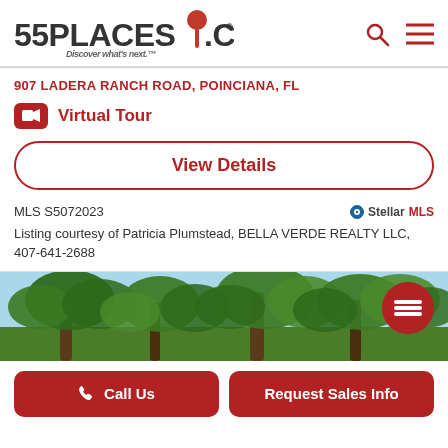[Figure (logo): 55Places.com logo with red pin icon and tagline 'Discover what's next.']
907 LADERA RANCH ROAD, POINCIANA, FL
Virtual Tour
View Details
MLS S5072023
[Figure (logo): Stellar MLS logo]
Listing courtesy of Patricia Plumstead, BELLA VERDE REALTY LLC, 407-641-2688
[Figure (photo): Outdoor photo showing large oak trees with Spanish moss against a blue sky]
Call Us
Request Sales Info